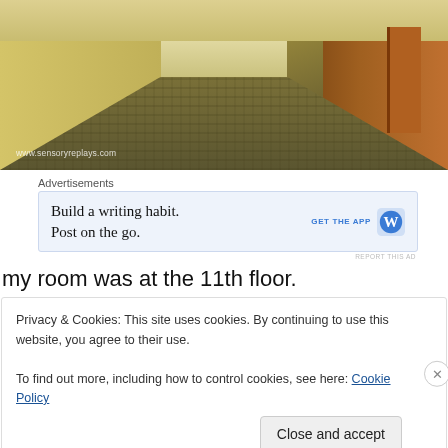[Figure (photo): Indoor hotel corridor with yellowish-green walls, patterned carpet flooring, and a wooden door visible at the right side. Watermark text 'www.sensoryreplays.com' in bottom-left corner.]
Advertisements
[Figure (other): Advertisement banner with light blue background. Text: 'Build a writing habit. Post on the go.' with 'GET THE APP' call to action and WordPress logo on right.]
REPORT THIS AD
my room was at the 11th floor.
Privacy & Cookies: This site uses cookies. By continuing to use this website, you agree to their use.
To find out more, including how to control cookies, see here: Cookie Policy
Close and accept